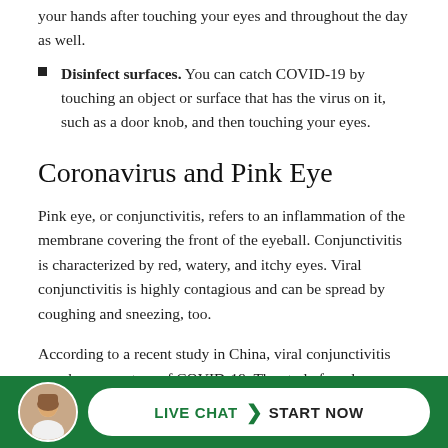your hands after touching your eyes and throughout the day as well.
Disinfect surfaces. You can catch COVID-19 by touching an object or surface that has the virus on it, such as a door knob, and then touching your eyes.
Coronavirus and Pink Eye
Pink eye, or conjunctivitis, refers to an inflammation of the membrane covering the front of the eyeball. Conjunctivitis is characterized by red, watery, and itchy eyes. Viral conjunctivitis is highly contagious and can be spread by coughing and sneezing, too.
According to a recent study in China, viral conjunctivitis may be a symptom of COVID-19. The study found conjunctival congestion in 9 of the 1,099 patients (0.8%) who were confirm… (have…